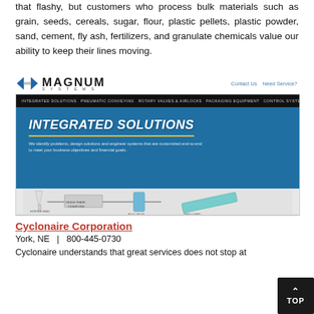that flashy, but customers who process bulk materials such as grain, seeds, cereals, sugar, flour, plastic pellets, plastic powder, sand, cement, fly ash, fertilizers, and granulate chemicals value our ability to keep their lines moving.
[Figure (screenshot): Screenshot of Magnum Systems website showing logo, navigation bar with menu items (Integrated Solutions, Pneumatic Conveying, Rotary Valves & Airlocks, Packaging Equipment, Control Systems, About, Contact), hero section with bold italic text 'INTEGRATED SOLUTIONS' and subtitle 'We identify problems, design solutions and engineer systems that are customized end-to-end to meet your business objectives and financial goals.', and a bottom panel showing conveyor equipment diagrams.]
Cyclonaire Corporation
York, NE  |  800-445-0730
Cyclonaire understands that great services does not stop at